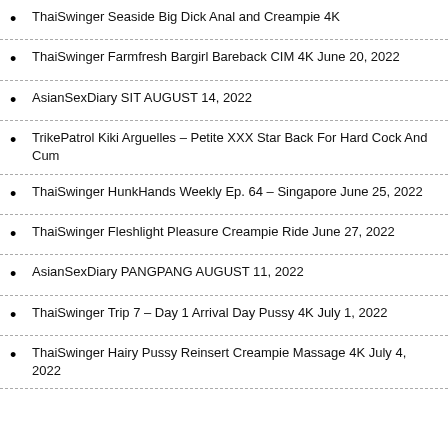ThaiSwinger Seaside Big Dick Anal and Creampie 4K
ThaiSwinger Farmfresh Bargirl Bareback CIM 4K June 20, 2022
AsianSexDiary SIT AUGUST 14, 2022
TrikePatrol Kiki Arguelles – Petite XXX Star Back For Hard Cock And Cum
ThaiSwinger HunkHands Weekly Ep. 64 – Singapore June 25, 2022
ThaiSwinger Fleshlight Pleasure Creampie Ride June 27, 2022
AsianSexDiary PANGPANG AUGUST 11, 2022
ThaiSwinger Trip 7 – Day 1 Arrival Day Pussy 4K July 1, 2022
ThaiSwinger Hairy Pussy Reinsert Creampie Massage 4K July 4, 2022